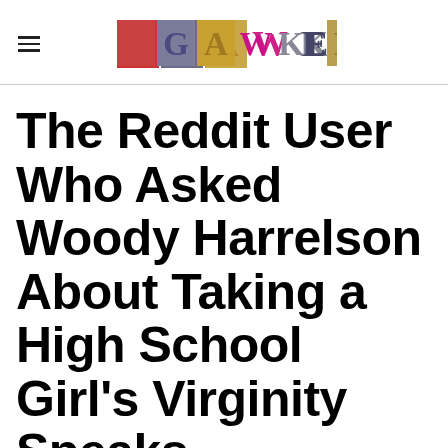GAWKER
The Reddit User Who Asked Woody Harrelson About Taking a High School Girl's Virginity Speaks